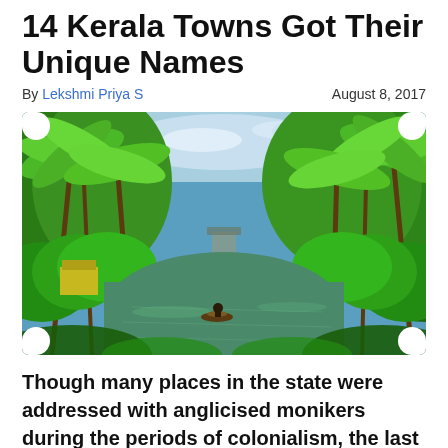14 Kerala Towns Got Their Unique Names
By Lekshmi Priya S    August 8, 2017
[Figure (photo): Kerala backwaters scene with lush green palm trees lining both sides of a calm waterway, with a small boat and person visible on the water]
Though many places in the state were addressed with anglicised monikers during the periods of colonialism, the last few decades have seen most